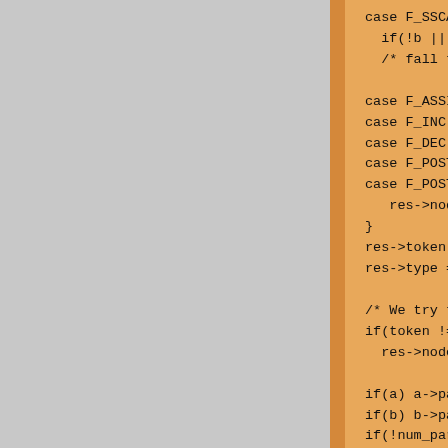[Figure (screenshot): Source code snippet showing C code with case statements and function definition, partially visible on the right side of the page. The left portion is gray background, a vertical orange stripe divides, and the right portion is a tan/orange background showing the code.]